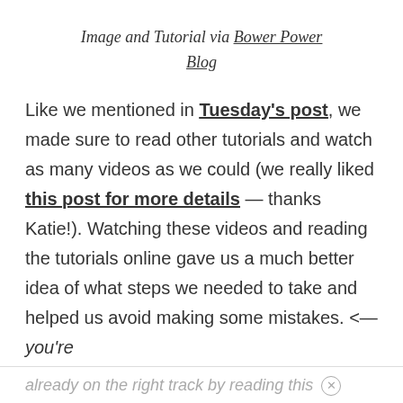Image and Tutorial via Bower Power Blog
Like we mentioned in Tuesday's post, we made sure to read other tutorials and watch as many videos as we could (we really liked this post for more details — thanks Katie!). Watching these videos and reading the tutorials online gave us a much better idea of what steps we needed to take and helped us avoid making some mistakes. <— you're already on the right track by reading this post!